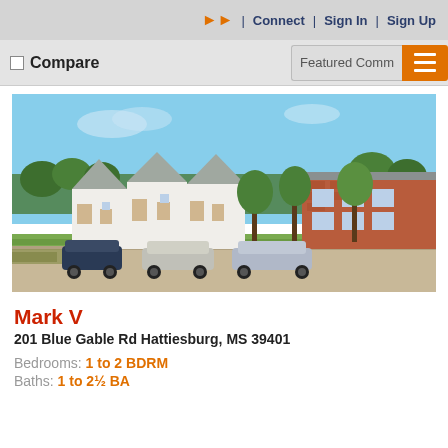RSS | Connect | Sign In | Sign Up
Compare
Featured Comm
[Figure (photo): Exterior photo of Mark V apartment complex showing white multi-unit buildings with peaked roofs, brick building on right, trees, and parked cars in foreground under blue sky]
Mark V
201 Blue Gable Rd Hattiesburg, MS 39401
Bedrooms: 1 to 2 BDRM
Baths: 1 to 2½ BA